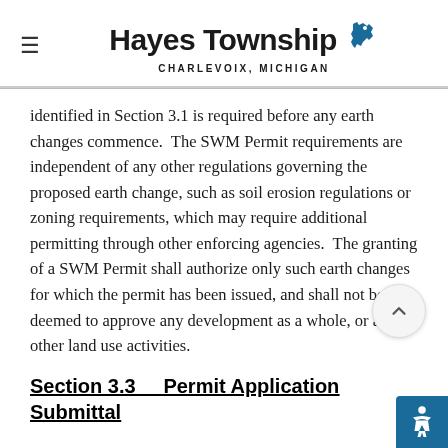Hayes Township CHARLEVOIX, MICHIGAN
identified in Section 3.1 is required before any earth changes commence.  The SWM Permit requirements are independent of any other regulations governing the proposed earth change, such as soil erosion regulations or zoning requirements, which may require additional permitting through other enforcing agencies.  The granting of a SWM Permit shall authorize only such earth changes for which the permit has been issued, and shall not be deemed to approve any development as a whole, or any other land use activities.
Section 3.3     Permit Application Submittal